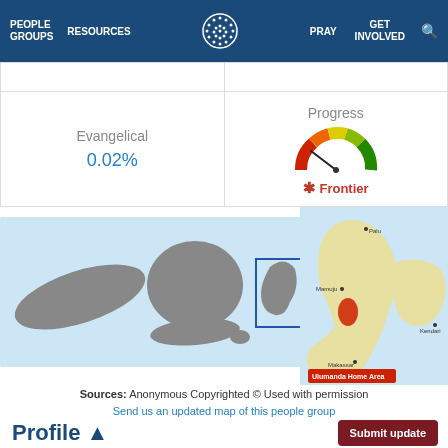PEOPLE GROUPS  RESOURCES  PRAY  GET INVOLVED
| Evangelical | Progress |
| --- | --- |
| 0.02% | Frontier |
[Figure (map): Map of Indonesia showing location of Ulumanda people group, with zoomed inset map of Sulawesi island highlighting Ulumanda Home Area in red.]
Sources: Anonymous Copyrighted © Used with permission
Send us an updated map of this people group
Profile ▲
Submit update